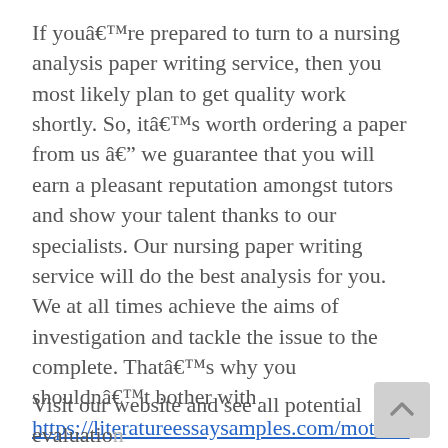If youâre prepared to turn to a nursing analysis paper writing service, then you most likely plan to get quality work shortly. So, itâs worth ordering a paper from us â we guarantee that you will earn a pleasant reputation amongst tutors and show your talent thanks to our specialists. Our nursing paper writing service will do the best analysis for you. We at all times achieve the aims of investigation and tackle the issue to the complete. Thatâs why you shouldnât bother with https://literatureessaysamples.com/mother-daughter-relationship-in-annie-john/ such a troublesome task. It is healthier to spend your final months of research with pleasure and associates
Visit our website and see all potential evaluation